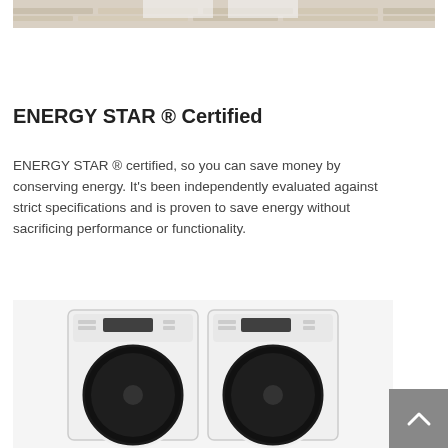[Figure (photo): Top portion of a laundry room scene with wood flooring and white appliances, cropped at top of page]
ENERGY STAR ® Certified
ENERGY STAR ® certified, so you can save money by conserving energy. It's been independently evaluated against strict specifications and is proven to save energy without sacrificing performance or functionality.
[Figure (photo): Two white front-loading washer and dryer units side by side with control panels at top and dark circular doors visible at bottom]